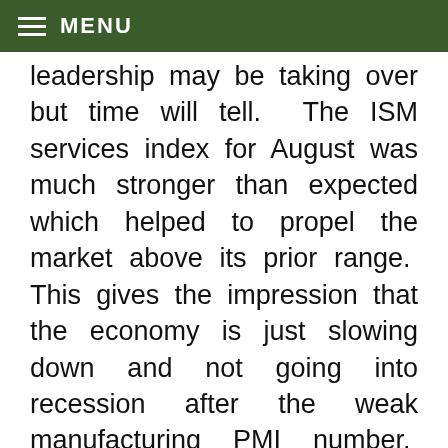≡ MENU
leadership may be taking over but time will tell.  The ISM services index for August was much stronger than expected which helped to propel the market above its prior range.  This gives the impression that the economy is just slowing down and not going into recession after the weak manufacturing PMI number.  Again, many of the most conservative industries such as consumer staples are helping to lead the market higher which is not a great sign.  There is still elevated risk of a larger correction given how soon we saw the bullish market signal but the market is likely to trend higher into the likely Fed rate cut.  The strategy is calling for holding positions in the 3 stocks below until the next update: